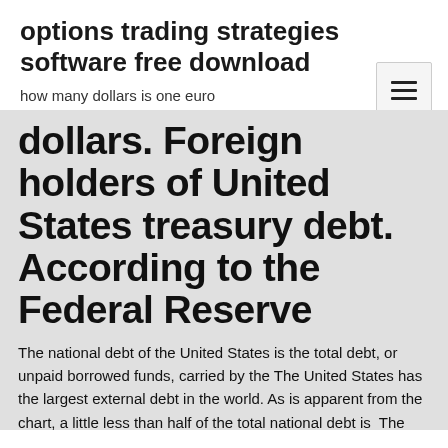options trading strategies software free download
how many dollars is one euro
dollars. Foreign holders of United States treasury debt. According to the Federal Reserve
The national debt of the United States is the total debt, or unpaid borrowed funds, carried by the The United States has the largest external debt in the world. As is apparent from the chart, a little less than half of the total national debt is  The public debt at that time was $16.5 trillion. It's in the Treasury Bulletin, Ownership of Federal Securities, Table OFS-2.4 Here's the breakdown:. 23 Aug 2018 Who owns a record $21.21 trillion